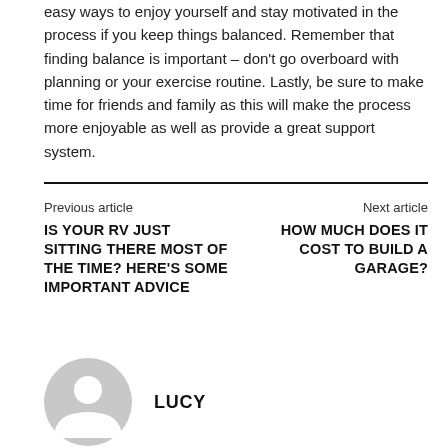easy ways to enjoy yourself and stay motivated in the process if you keep things balanced. Remember that finding balance is important – don't go overboard with planning or your exercise routine. Lastly, be sure to make time for friends and family as this will make the process more enjoyable as well as provide a great support system.
Previous article
Next article
IS YOUR RV JUST SITTING THERE MOST OF THE TIME? HERE'S SOME IMPORTANT ADVICE
HOW MUCH DOES IT COST TO BUILD A GARAGE?
[Figure (illustration): Generic grey user avatar / profile silhouette icon]
LUCY